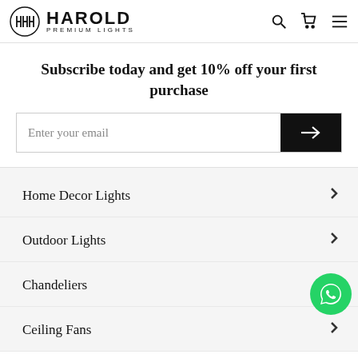[Figure (logo): Harold Premium Lights logo with circular emblem and bold text]
Subscribe today and get 10% off your first purchase
[Figure (other): Email subscription input field with black submit arrow button]
Home Decor Lights
Outdoor Lights
Chandeliers
Ceiling Fans
[Figure (other): WhatsApp floating chat button (green circle with phone icon)]